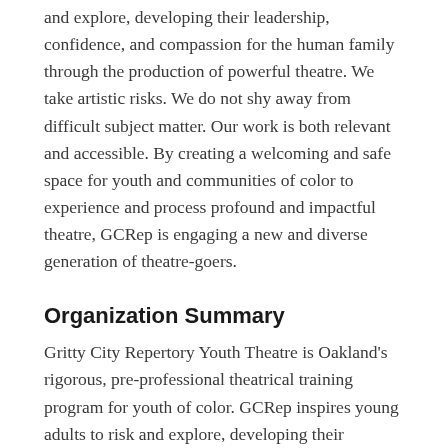and explore, developing their leadership, confidence, and compassion for the human family through the production of powerful theatre. We take artistic risks. We do not shy away from difficult subject matter. Our work is both relevant and accessible. By creating a welcoming and safe space for youth and communities of color to experience and process profound and impactful theatre, GCRep is engaging a new and diverse generation of theatre-goers.
Organization Summary
Gritty City Repertory Youth Theatre is Oakland's rigorous, pre-professional theatrical training program for youth of color. GCRep inspires young adults to risk and explore, developing their leadership, confidence, and compassion for the human family through the production of powerful theatre. We take artistic risks.